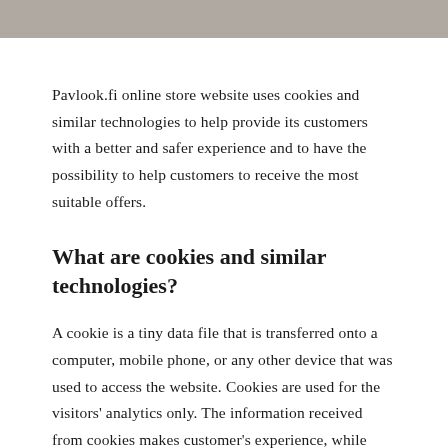Pavlook.fi online store website uses cookies and similar technologies to help provide its customers with a better and safer experience and to have the possibility to help customers to receive the most suitable offers.
What are cookies and similar technologies?
A cookie is a tiny data file that is transferred onto a computer, mobile phone, or any other device that was used to access the website. Cookies are used for the visitors' analytics only. The information received from cookies makes customer's experience, while using the Pavlook.fi website, safer and better, and helps understanding the user's preferences and to improve our services.
Pavlook.fi online store website uses only Google Analytics